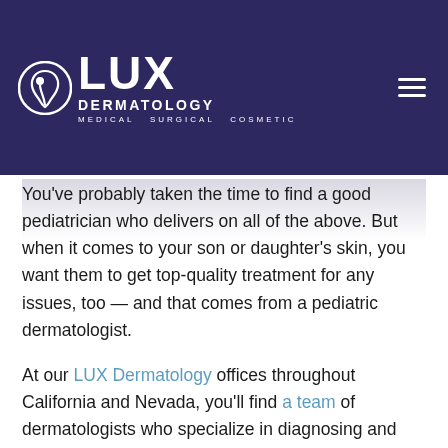[Figure (logo): LUX Dermatology logo — white circular icon with stylized figure, white text 'LUX' large, 'DERMATOLOGY' below, 'MEDICAL SURGICAL COSMETIC' smaller, on dark navy/purple background. Hamburger menu icon in top right.]
You've probably taken the time to find a good pediatrician who delivers on all of the above. But when it comes to your son or daughter's skin, you want them to get top-quality treatment for any issues, too — and that comes from a pediatric dermatologist.
At our LUX Dermatology offices throughout California and Nevada, you'll find a team of dermatologists who specialize in diagnosing and treating pediatric conditions while delivering comfortable care.
If you're curious about pediatric dermatology or what to expect, you've come to the right place. First, here's a basic overview of pediatric dermatology and how it works at our